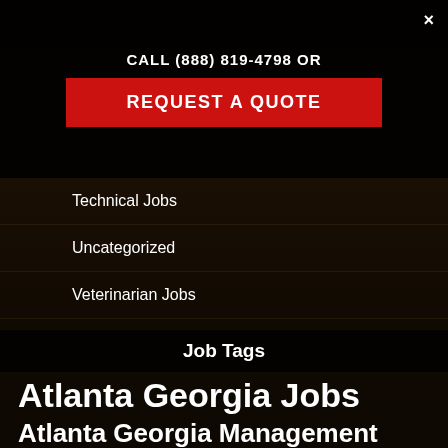CALL (888) 819-4798 OR REQUEST A QUOTE
×
Technical Jobs
Uncategorized
Veterinarian Jobs
Job Tags
Atlanta Georgia Jobs  Atlanta Georgia Management Jobs  Atlanta Georgia Manufacturing Jobs  Atlanta Georgia Sales Jobs  Boston Massachusetts Jobs  Boston Massachusetts Management Jobs  Chicago Illinois Animal Care Jobs  Chicago Illinois Director of Shelter Medicine Jobs  Chicago Illinois Facilities Management Jobs  Chicago Illinois Jobs  Chicago Illinois Maintenance Jobs